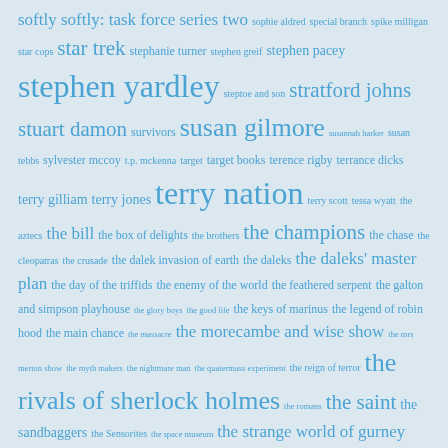[Figure (infographic): Tag cloud of British TV show titles and actor names in various shades of blue on light blue background. Terms vary in font size indicating frequency/popularity. Terms include: softly softly task force series two, sophie aldred, special branch, spike milligan, star cops, star trek, stephanie turner, stephen greif, stephen pacey, stephen yardley, steptoe and son, stratford johns, stuart damon, survivors, susan gilmore, susannah harker, susan tebbs, sylvester mccoy, t.p. mckenna, target, target books, terence rigby, terrance dicks, terry gilliam, terry jones, terry nation, terry scott, tessa wyatt, the aztecs, the bill, the box of delights, the brothers, the champions, the chase, the cleopatras, the crusade, the dalek invasion of earth, the daleks, the daleks master plan, the day of the triffids, the enemy of the world, the feathered serpent, the galton and simpson playhouse, the glory boys, the good life, the keys of marinus, the legend of robin hood, the main chance, the massacre, the morecambe and wise show, the mrs merton show, the myth makers, the nightmare man, the quatermass experiment, the reign of terror, the rivals of sherlock holmes, the romans, the saint, the sandbaggers, the Sensorites, the space museum, the strange world of gurney slade, the talons of]